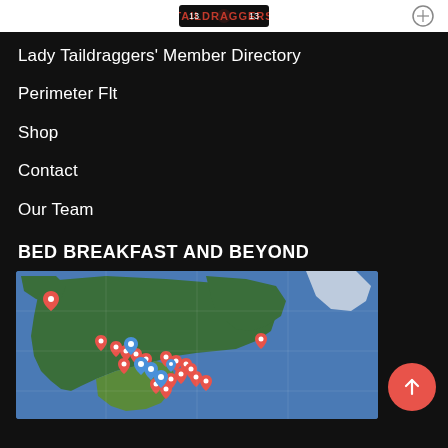Lady Taildraggers logo / header
Lady Taildraggers' Member Directory
Perimeter Flt
Shop
Contact
Our Team
BED BREAKFAST AND BEYOND
[Figure (map): Google map of North America with red and blue map pin markers showing bed and breakfast locations across the USA, Canada, and one on the east coast.]